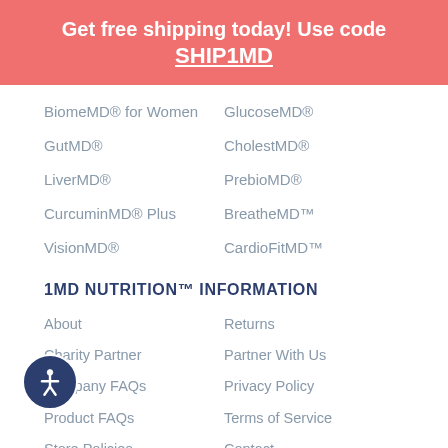Get free shipping today! Use code SHIP1MD
BiomeMD® for Women
GlucoseMD®
GutMD®
CholestMD®
LiverMD®
PrebioMD®
CurcuminMD® Plus
BreatheMD™
VisionMD®
CardioFitMD™
1MD NUTRITION™ INFORMATION
About
Returns
Charity Partner
Partner With Us
Company FAQs
Privacy Policy
Product FAQs
Terms of Service
Store Policies
Contact